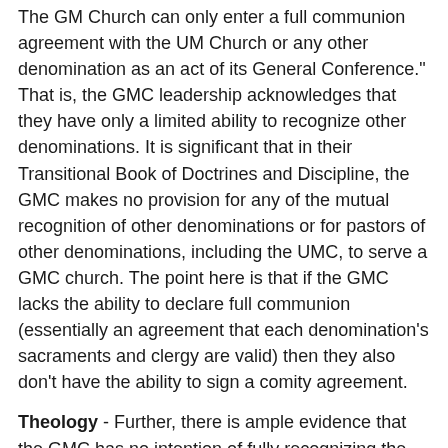The GM Church can only enter a full communion agreement with the UM Church or any other denomination as an act of its General Conference." That is, the GMC leadership acknowledges that they have only a limited ability to recognize other denominations. It is significant that in their Transitional Book of Doctrines and Discipline, the GMC makes no provision for any of the mutual recognition of other denominations or for pastors of other denominations, including the UMC, to serve a GMC church. The point here is that if the GMC lacks the ability to declare full communion (essentially an agreement that each denomination's sacraments and clergy are valid) then they also don't have the ability to sign a comity agreement.
Theology - Further, there is ample evidence that the GMC has no intention of fully recognizing the UMC. Consider:
- as previously reported, in 2004 the Good News caucus identified that they would want the UMC to cease to exist if conservatives left.
- As early as 2018, Good News and WCA leader Tom Lambrecht said those of us supporting full inclusion are